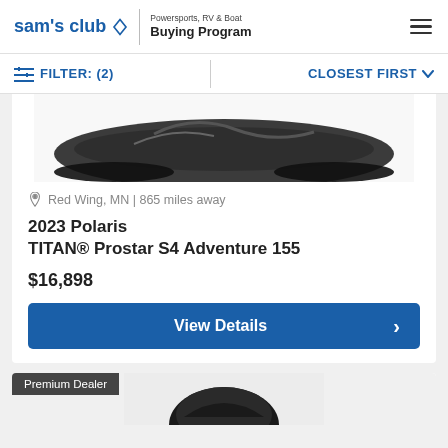sam's club | Powersports, RV & Boat Buying Program
FILTER: (2) | CLOSEST FIRST
[Figure (photo): Partial view of a snowmobile (Polaris TITAN) from above, showing the rear/track area on a white background]
Red Wing, MN | 865 miles away
2023 Polaris TITAN® Prostar S4 Adventure 155
$16,898
View Details
Premium Dealer
[Figure (photo): Partial view of another vehicle (top/helmet) at the bottom of the page]